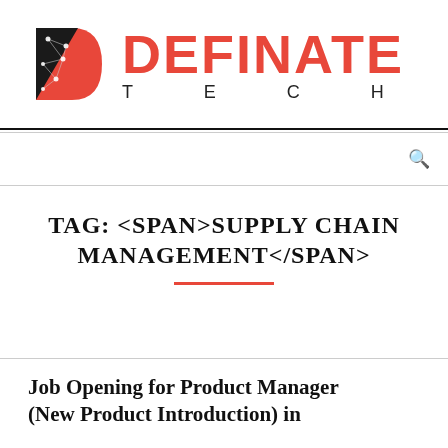[Figure (logo): Definate Tech logo with geometric D icon in black/red and DEFINATE in red bold uppercase with TECH spaced below]
TAG: <SPAN>SUPPLY CHAIN MANAGEMENT</SPAN>
Job Opening for Product Manager (New Product Introduction) in